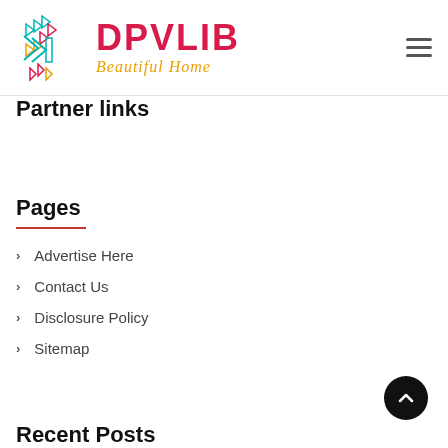[Figure (logo): DPVLIB logo with geometric arrow/chevron icon in teal, red, and yellow, and text 'DPVLIB' in red bold with tagline 'Beautiful Home' in golden italic script]
Partner links
Pages
Advertise Here
Contact Us
Disclosure Policy
Sitemap
Recent Posts